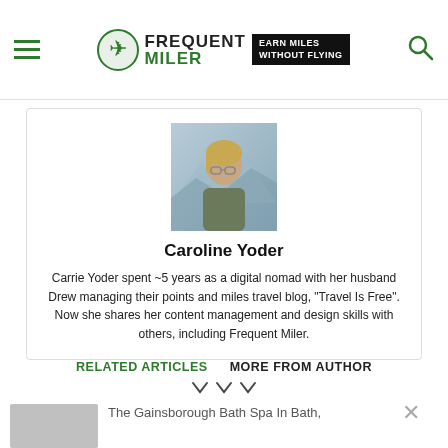Frequent Miler — Earn Miles Without Flying
[Figure (photo): Photo of Caroline Yoder, a woman with glasses and blond hair, outdoors with mountains in background]
Caroline Yoder
Carrie Yoder spent ~5 years as a digital nomad with her husband Drew managing their points and miles travel blog, "Travel Is Free". Now she shares her content management and design skills with others, including Frequent Miler.
RELATED ARTICLES   MORE FROM AUTHOR
The Gainsborough Bath Spa In Bath,